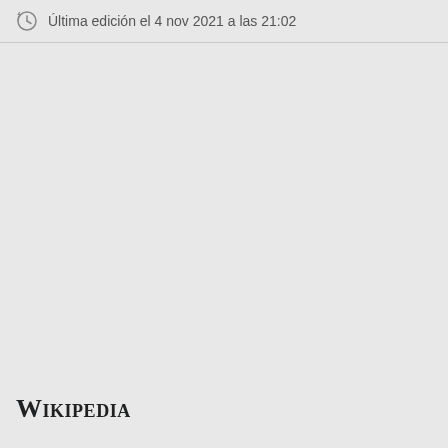Última edición el 4 nov 2021 a las 21:02
[Figure (logo): Wikipedia logo text in serif small-caps font]